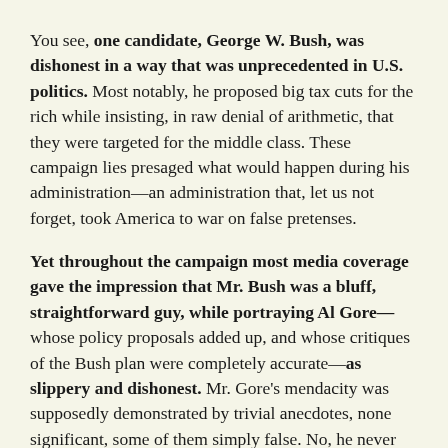You see, one candidate, George W. Bush, was dishonest in a way that was unprecedented in U.S. politics. Most notably, he proposed big tax cuts for the rich while insisting, in raw denial of arithmetic, that they were targeted for the middle class. These campaign lies presaged what would happen during his administration—an administration that, let us not forget, took America to war on false pretenses.
Yet throughout the campaign most media coverage gave the impression that Mr. Bush was a bluff, straightforward guy, while portraying Al Gore—whose policy proposals added up, and whose critiques of the Bush plan were completely accurate—as slippery and dishonest. Mr. Gore's mendacity was supposedly demonstrated by trivial anecdotes, none significant, some of them simply false. No, he never claimed to have invented the internet. But the image stuck.
And right now I and many others have the sick, sinking feeling that it's happening again.